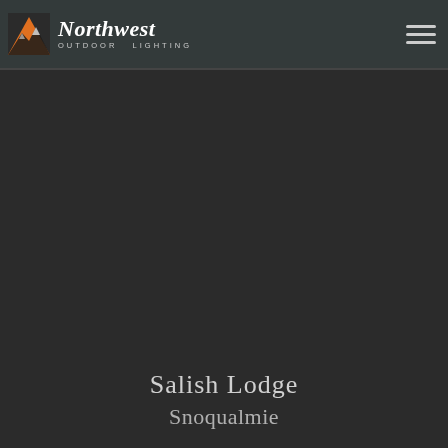[Figure (logo): Northwest Outdoor Lighting logo with orange mountain/landscape icon and white italic text]
[Figure (other): Hamburger menu icon (three horizontal lines) in top right corner]
Salish Lodge
Snoqualmie